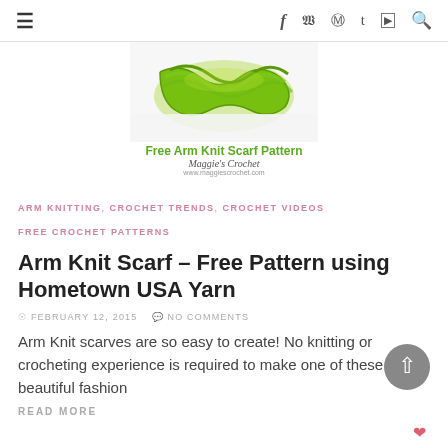≡  f  y  ⊕  t  ▶  🔍
[Figure (photo): Green arm knit scarf displayed, with caption 'Free Arm Knit Scarf Pattern' and Maggie's Crochet logo and website URL]
Free Arm Knit Scarf Pattern
Maggie's Crochet
www.maggiescrochet.com
ARM KNITTING, CROCHET TRENDS, CROCHET VIDEOS, FREE CROCHET PATTERNS
Arm Knit Scarf – Free Pattern using Hometown USA Yarn
FEBRUARY 12, 2015  NO COMMENTS
Arm Knit scarves are so easy to create! No knitting or crocheting experience is required to make one of these beautiful fashion
READ MORE